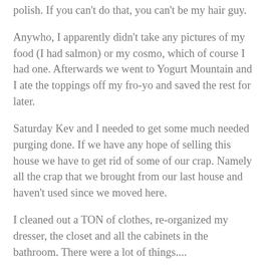polish. If you can't do that, you can't be my hair guy.
Anywho, I apparently didn't take any pictures of my food (I had salmon) or my cosmo, which of course I had one. Afterwards we went to Yogurt Mountain and I ate the toppings off my fro-yo and saved the rest for later.
Saturday Kev and I needed to get some much needed purging done. If we have any hope of selling this house we have to get rid of some of our crap. Namely all the crap that we brought from our last house and haven't used since we moved here.
I cleaned out a TON of clothes, re-organized my dresser, the closet and all the cabinets in the bathroom. There were a lot of things....
Saturday night we headed to the Blue Note in Durham where there was an accapella shin-dig. 7 or 8 groups were there, Kev's being one of them, and they were all singing 4 songs apiece. It was a nice event, don't get me wrong, but the venue left much to be desired. They didn't have nearly